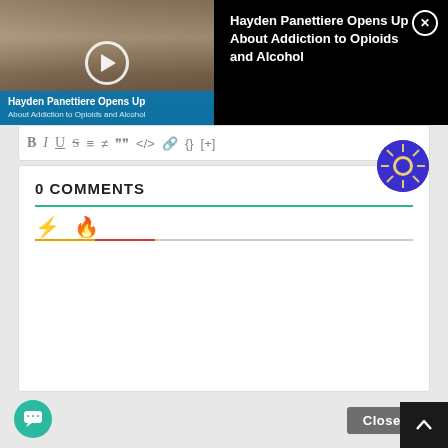[Figure (screenshot): Video thumbnail showing a woman (Hayden Panettiere) with play button overlay and blue caption bar reading 'Hayden Panettiere Opens Up About Addiction to Opioids and Alcohol']
Hayden Panettiere Opens Up About Addiction to Opioids and Alcohol
[Figure (screenshot): Text editor toolbar with formatting buttons: B, I, U, S, ordered list, unordered list, blockquote, code, link, braces, [+]]
[Figure (screenshot): Dark purple circular avatar/profile icon with sun/star pattern]
0 COMMENTS
[Figure (screenshot): Comment section tabs with lightning bolt icon and fire icon, with colored underline tabs (yellow/orange for first, red for second)]
[Figure (screenshot): Close X button (grey) and chat bubble button (teal circle) and scroll-to-top button (dark square with up arrow)]